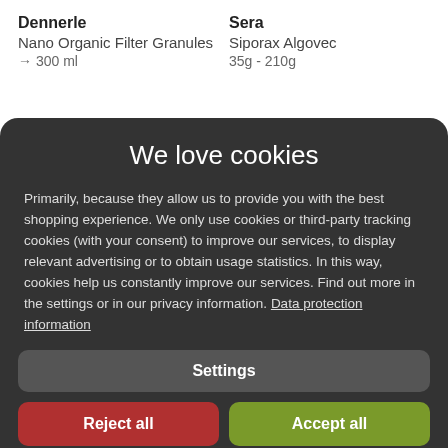Dennerle
Nano Organic Filter Granules
→ 300 ml
Sera
Siporax Algovec
35g - 210g
We love cookies
Primarily, because they allow us to provide you with the best shopping experience. We only use cookies or third-party tracking cookies (with your consent) to improve our services, to display relevant advertising or to obtain usage statistics. In this way, cookies help us constantly improve our services. Find out more in the settings or in our privacy information. Data protection information
Settings
Reject all
Accept all